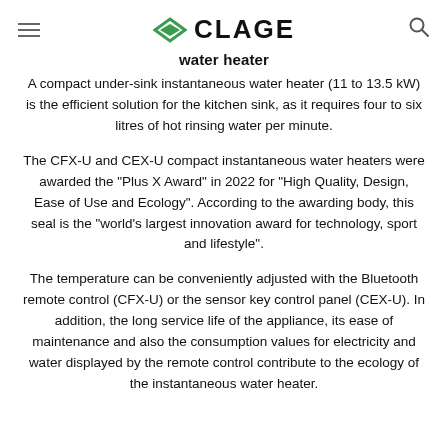CLAGE
water heater
A compact under-sink instantaneous water heater (11 to 13.5 kW) is the efficient solution for the kitchen sink, as it requires four to six litres of hot rinsing water per minute.
The CFX-U and CEX-U compact instantaneous water heaters were awarded the "Plus X Award" in 2022 for "High Quality, Design, Ease of Use and Ecology". According to the awarding body, this seal is the "world's largest innovation award for technology, sport and lifestyle".
The temperature can be conveniently adjusted with the Bluetooth remote control (CFX-U) or the sensor key control panel (CEX-U). In addition, the long service life of the appliance, its ease of maintenance and also the consumption values for electricity and water displayed by the remote control contribute to the ecology of the instantaneous water heater.